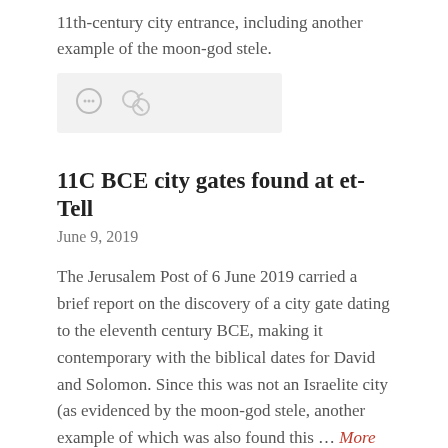11th-century city entrance, including another example of the moon-god stele.
[Figure (other): Icon bar with comment and link icons on light grey background]
11C BCE city gates found at et-Tell
June 9, 2019
The Jerusalem Post of 6 June 2019 carried a brief report on the discovery of a city gate dating to the eleventh century BCE, making it contemporary with the biblical dates for David and Solomon. Since this was not an Israelite city (as evidenced by the moon-god stele, another example of which was also found this … More
[Figure (other): Icon bar with comment and link icons on light grey background, partially visible at bottom]